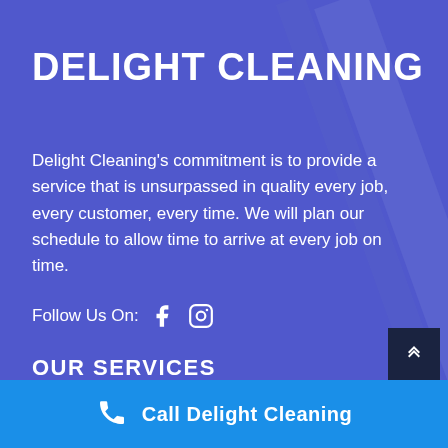DELIGHT CLEANING
Delight Cleaning's commitment is to provide a service that is unsurpassed in quality every job, every customer, every time. We will plan our schedule to allow time to arrive at every job on time.
Follow Us On:
OUR SERVICES
Anti-Mould Treatment
Call Delight Cleaning